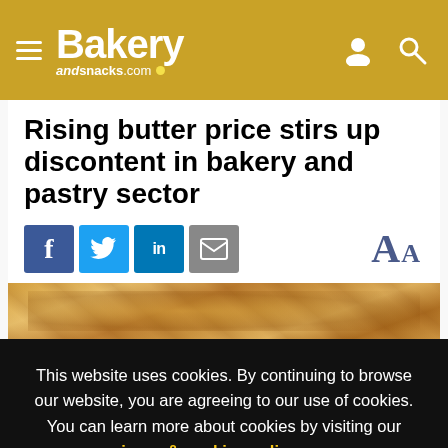Bakery andsnacks.com
Rising butter price stirs up discontent in bakery and pastry sector
[Figure (screenshot): Social sharing buttons: Facebook, Twitter, LinkedIn, Email; and font-size AA controls]
[Figure (photo): Close-up photo of a croissant or pastry, golden brown flaky texture]
This website uses cookies. By continuing to browse our website, you are agreeing to our use of cookies. You can learn more about cookies by visiting our privacy & cookies policy page.
I Agree